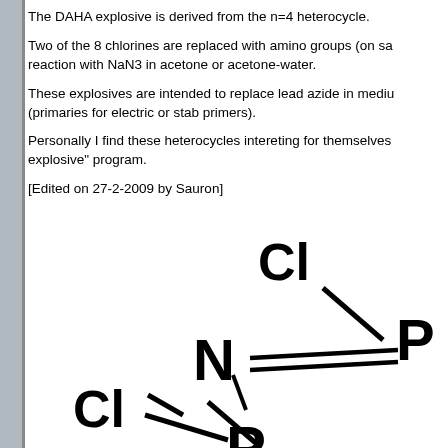The DAHA explosive is derived from the n=4 heterocycle.
Two of the 8 chlorines are replaced with amino groups (on sa reaction with NaN3 in acetone or acetone-water.
These explosives are intended to replace lead azide in mediu (primaries for electric or stab primers).
Personally I find these heterocycles intereting for themselves explosive" program.
[Edited on 27-2-2009 by Sauron]
[Figure (engineering-diagram): Partial chemical structure diagram showing phosphorus-nitrogen heterocycle with chlorine substituents. Shows Cl-P-N=P fragment with bond lines, partially cut off at page edge.]